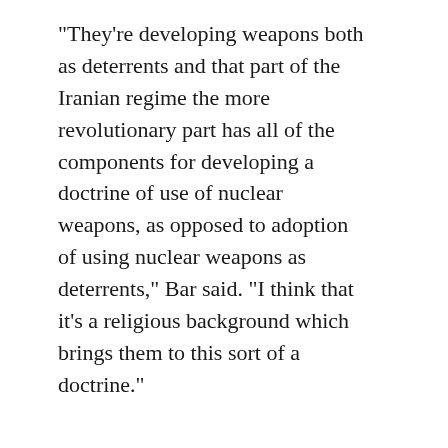"They're developing weapons both as deterrents and that part of the Iranian regime the more revolutionary part has all of the components for developing a doctrine of use of nuclear weapons, as opposed to adoption of using nuclear weapons as deterrents," Bar said. "I think that it's a religious background which brings them to this sort of a doctrine."